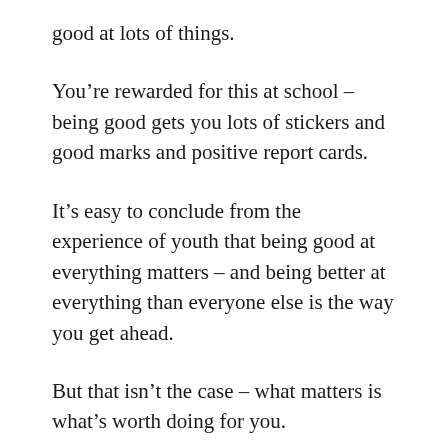good at lots of things.
You’re rewarded for this at school – being good gets you lots of stickers and good marks and positive report cards.
It’s easy to conclude from the experience of youth that being good at everything matters – and being better at everything than everyone else is the way you get ahead.
But that isn’t the case – what matters is what’s worth doing for you.